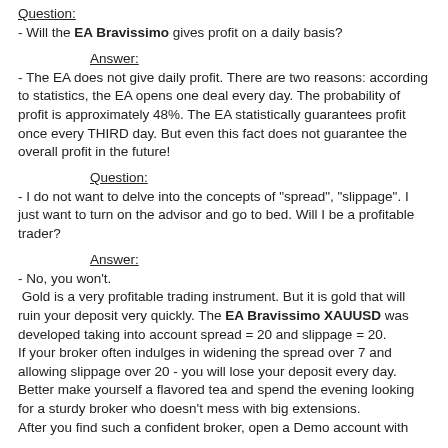Question:
- Will the EA Bravissimo gives profit on a daily basis?
Answer:
- The EA does not give daily profit. There are two reasons: according to statistics, the EA opens one deal every day. The probability of profit is approximately 48%. The EA statistically guarantees profit once every THIRD day. But even this fact does not guarantee the overall profit in the future!
Question:
- I do not want to delve into the concepts of "spread", "slippage". I just want to turn on the advisor and go to bed. Will I be a profitable trader?
Answer:
- No, you won't.
 Gold is a very profitable trading instrument. But it is gold that will ruin your deposit very quickly. The EA Bravissimo XAUUSD was developed taking into account spread = 20 and slippage = 20. If your broker often indulges in widening the spread over 7 and allowing slippage over 20 - you will lose your deposit every day. Better make yourself a flavored tea and spend the evening looking for a sturdy broker who doesn't mess with big extensions. After you find such a confident broker, open a Demo account with